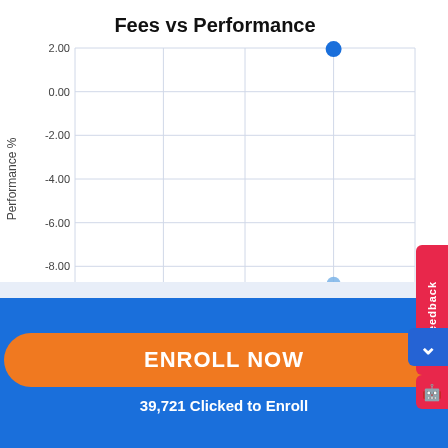Fees vs Performance
[Figure (scatter-plot): Scatter plot showing two data points. One dark blue point at approximately (0.38, 2.00) and one light blue point at approximately (0.38, -8.80). X-axis labeled Fees % with ticks at 0.00, 0.13, 0.25, 0.38. Y-axis labeled Performance % with ticks from -10.00 to 2.00.]
ENROLL NOW
39,721 Clicked to Enroll